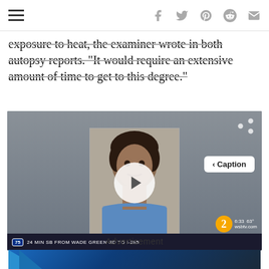Navigation and social icons bar
exposure to heat, the examiner wrote in both autopsy reports. “It would require an extensive amount of time to get to this degree.”
[Figure (screenshot): Video player showing a mugshot/booking photo of a person with curly dark hair wearing a blue shirt, overlaid with a white circular play button. A share icon is in the top right corner, a Caption button is visible on the right side. The lower bar shows WSB-TV channel 2 branding, time 6:33, temperature 63 degrees, and traffic information: 75 - 24 MIN SB FROM WADE GREEN RD TO I-285. wsbtv.com visible.]
Advertisement